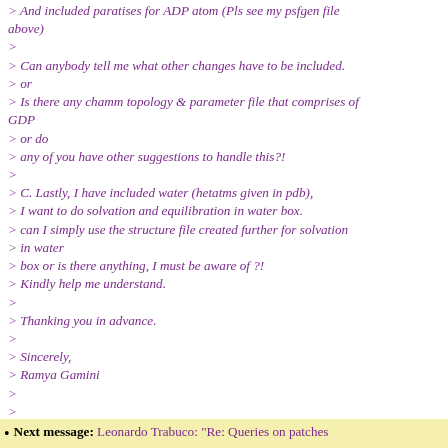> And included paratises for ADP atom (Pls see my psfgen file above)
>
> Can anybody tell me what other changes have to be included.
> or
> Is there any chamm topology & parameter file that comprises of GDP
> or do
> any of you have other suggestions to handle this?!
>
> C. Lastly, I have included water (hetatms given in pdb),
> I want to do solvation and equilibration in water box.
> can I simply use the structure file created further for solvation
> in water
> box or is there anything, I must be aware of ?!
> Kindly help me understand.
>
> Thanking you in advance.
>
> Sincerely,
> Ramya Gamini
>
>
>
Next message: Leonardo Trabuco: "Re: Queries on patches..."